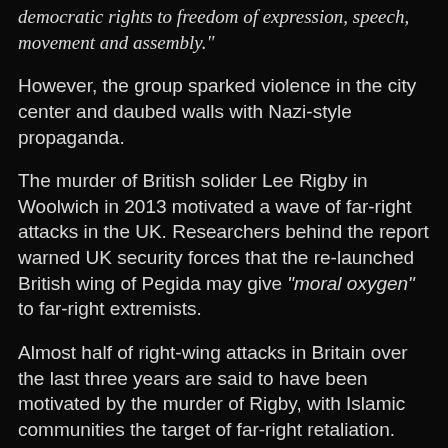democratic rights to freedom of expression, speech, movement and assembly."
However, the group sparked violence in the city center and daubed walls with Nazi-style propaganda.
The murder of British solider Lee Rigby in Woolwich in 2013 motivated a wave of far-right attacks in the UK. Researchers behind the report warned UK security forces that the re-launched British wing of Pegida may give “moral oxygen” to far-right extremists.
Almost half of right-wing attacks in Britain over the last three years are said to have been motivated by the murder of Rigby, with Islamic communities the target of far-right retaliation.
White supremacist Pavlo Lapshyn started his terror campaign in the summer of 2013, hoping to trigger a race war on the streets of Britain. He stabbed Mohammed Saleem, 82, as he walked back from his